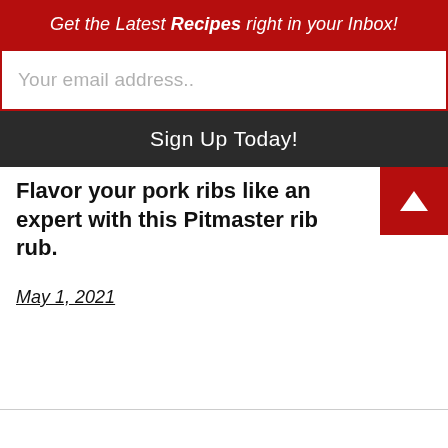Get the Latest Recipes right in your Inbox!
Your email address..
Sign Up Today!
Flavor your pork ribs like an expert with this Pitmaster rib rub.
May 1, 2021